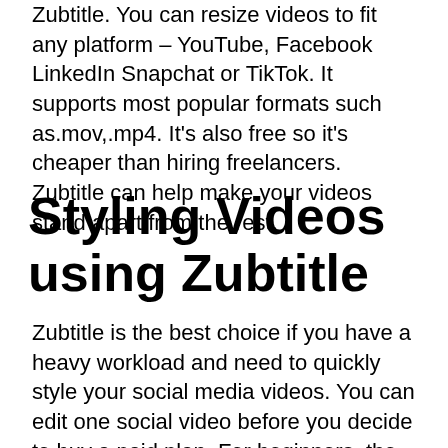Zubtitle. You can resize videos to fit any platform – YouTube, Facebook LinkedIn Snapchat or TikTok. It supports most popular formats such as.mov,.mp4. It's also free so it's cheaper than hiring freelancers. Zubtitle can help make your videos stand apart from the rest.
Styling Videos using Zubtitle
Zubtitle is the best choice if you have a heavy workload and need to quickly style your social media videos. You can edit one social video before you decide to buy a paid plan. For beginners, the free trial is enough for a single video, while the Elite plan allows